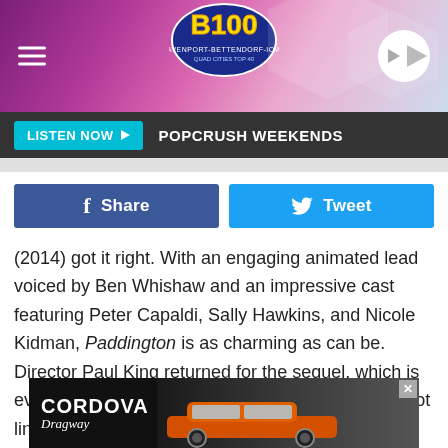[Figure (screenshot): B100 radio station header banner with pink/purple hexagonal background, hamburger menu icon on left, B100 logo in center, play button on right]
LISTEN NOW ▶  POPCRUSH WEEKENDS
[Figure (screenshot): Facebook Share button (blue) and Twitter Tweet button (cyan) side by side]
(2014) got it right. With an engaging animated lead voiced by Ben Whishaw and an impressive cast featuring Peter Capaldi, Sally Hawkins, and Nicole Kidman, Paddington is as charming as can be. Director Paul King returned for the sequel, which is even more delightful. It raises the stakes with its plot line, where Paddington is sent to prison after being falsely accused of stealing a book. With a near-perfect score on Rotten Tomatoes, many critics have lauded Paddington 2 as one of the best films of the 2010s — for
[Figure (screenshot): Cordova Dragway advertisement banner showing text 'CORDOVA Dragway' and an orange muscle car]